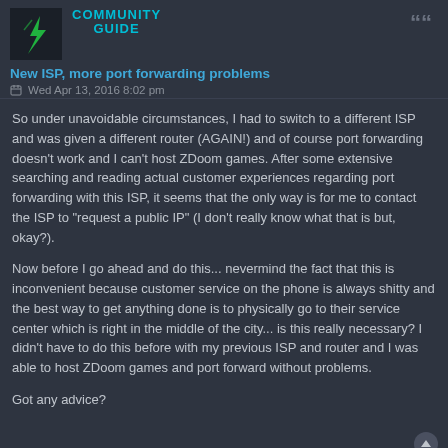[Figure (photo): User avatar thumbnail with green lightning bolt icon on dark background]
COMMUNITY GUIDE
New ISP, more port forwarding problems
Wed Apr 13, 2016 8:02 pm
So under unavoidable circumstances, I had to switch to a different ISP and was given a different router (AGAIN!) and of course port forwarding doesn't work and I can't host ZDoom games. After some extensive searching and reading actual customer experiences regarding port forwarding with this ISP, it seems that the only way is for me to contact the ISP to "request a public IP" (I don't really know what that is but, okay?).
Now before I go ahead and do this... nevermind the fact that this is inconvenient because customer service on the phone is always shitty and the best way to get anything done is to physically go to their service center which is right in the middle of the city... is this really necessary? I didn't have to do this before with my previous ISP and router and I was able to host ZDoom games and port forward without problems.
Got any advice?
edward850
[Figure (photo): User avatar thumbnail for edward850 with dark red/orange game scene]